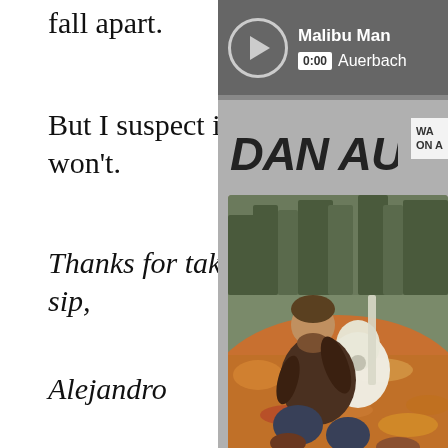fall apart.
But I suspect it won't.
Thanks for taking a sip,
Alejandro
[Figure (screenshot): Spotify-style music player widget showing 'Malibu Man' by Auerbach with play button, 0:00 timestamp, and Dan Auerbach album art showing a man sitting in autumn leaves playing guitar]